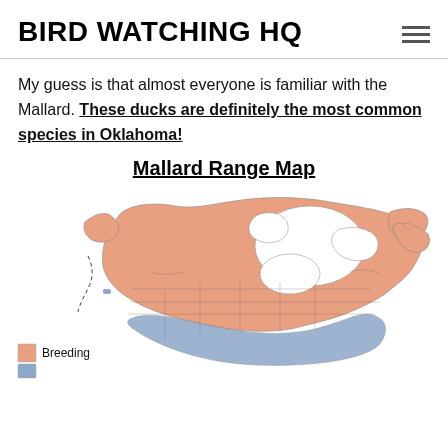BIRD WATCHING HQ
My guess is that almost everyone is familiar with the Mallard. These ducks are definitely the most common species in Oklahoma!
Mallard Range Map
[Figure (map): Mallard range map of North America showing breeding range in salmon/orange and non-breeding (wintering) range in blue. The breeding range covers most of Canada and the northern/central United States. A legend at the bottom left shows 'Breeding' with an orange swatch and a partially visible blue swatch below it.]